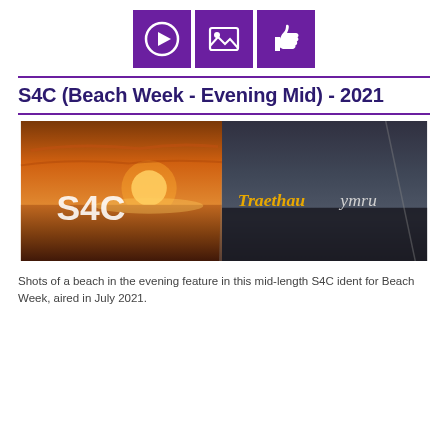[Figure (infographic): Three purple square icons in a row: a play button (circle with triangle), an image/photo icon (landscape with mountains), and a thumbs-up/like icon.]
S4C (Beach Week - Evening Mid) - 2021
[Figure (photo): A split image showing beach/ocean scenes. Left half shows a warm sunset over the sea with the S4C logo in white text. Right half shows a darker beach scene with 'Traethau ymru' text in yellow italic font.]
Shots of a beach in the evening feature in this mid-length S4C ident for Beach Week, aired in July 2021.